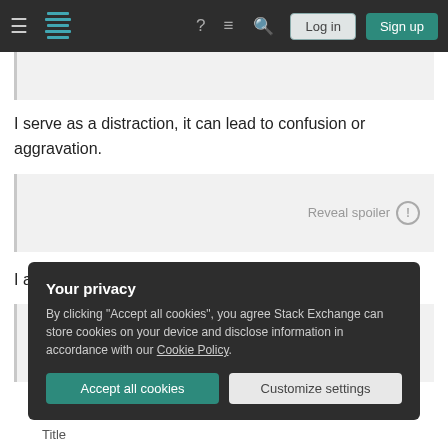Stack Exchange navigation bar with Log in and Sign up buttons
I serve as a distraction, it can lead to confusion or aggravation.
Reveal spoiler
I am abused; cut, stabbed, and pounded.
Reveal spoiler
Your privacy
By clicking "Accept all cookies", you agree Stack Exchange can store cookies on your device and disclose information in accordance with our Cookie Policy.
Accept all cookies
Customize settings
Title